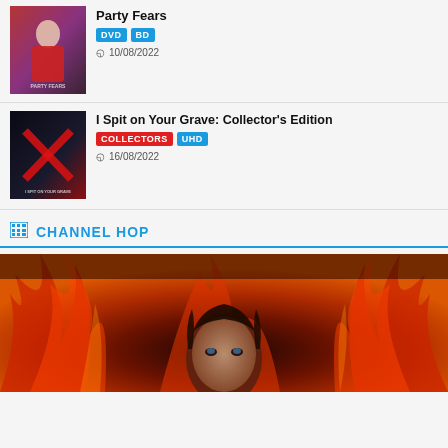[Figure (photo): Movie cover art for first entry - woman in red against dark background]
Party Fears
DVD  BD
10/08/2022
[Figure (photo): Movie cover for I Spit on Your Grave Collector's Edition - dark cover with red X motif]
I Spit on Your Grave: Collector's Edition
COLLECTORS  UHD
16/08/2022
CHANNEL HOP
[Figure (photo): Dark atmospheric image with fiery red and orange flames surrounding a man's face]